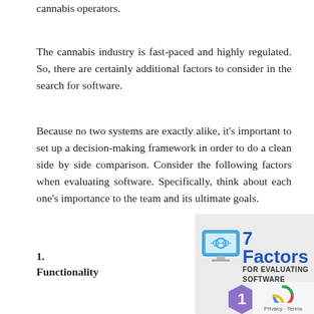cannabis operators.
The cannabis industry is fast-paced and highly regulated. So, there are certainly additional factors to consider in the search for software.
Because no two systems are exactly alike, it’s important to set up a decision-making framework in order to do a clean side by side comparison. Consider the following factors when evaluating software. Specifically, think about each one’s importance to the team and its ultimate goals.
1. Functionality
[Figure (infographic): Infographic showing '7 Factors for Evaluating Software' with a monitor icon and a numbered badge, on a light grey background. Also shows a Privacy - Terms badge in the bottom right corner.]